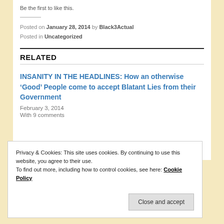Be the first to like this.
Posted on January 28, 2014 by Black3Actual
Posted in Uncategorized
RELATED
INSANITY IN THE HEADLINES: How an otherwise ‘Good’ People come to accept Blatant Lies from their Government
February 3, 2014
With 9 comments
Privacy & Cookies: This site uses cookies. By continuing to use this website, you agree to their use.
To find out more, including how to control cookies, see here: Cookie Policy
Close and accept